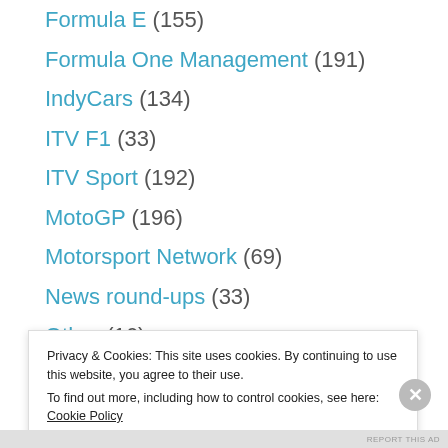Formula E (155)
Formula One Management (191)
IndyCars (134)
ITV F1 (33)
ITV Sport (192)
MotoGP (196)
Motorsport Network (69)
News round-ups (33)
Other (16)
Ratings (333)
Privacy & Cookies: This site uses cookies. By continuing to use this website, you agree to their use. To find out more, including how to control cookies, see here: Cookie Policy
Close and accept